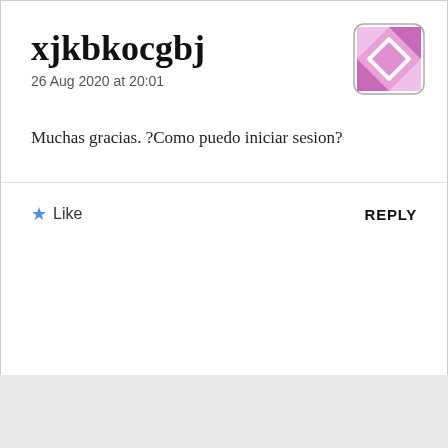xjkbkocgbj
26 Aug 2020 at 20:01
Muchas gracias. ?Como puedo iniciar sesion?
[Figure (illustration): Avatar icon with pink/purple geometric design on white background with rounded corners]
★ Like
REPLY
Leave a Reply
Advertisements
[Figure (screenshot): DuckDuckGo advertisement banner with orange/red background. Text: Search, browse, and email with more privacy. All in One Free App. Shows a phone with DuckDuckGo app.]